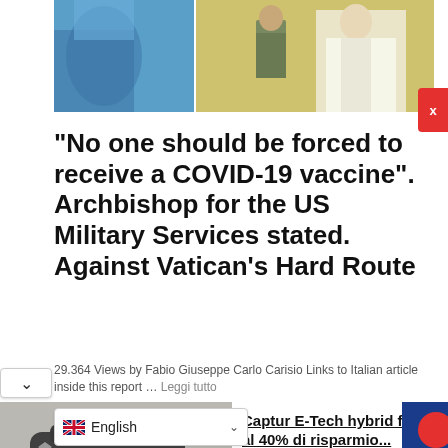[Figure (photo): Two photos side by side: left shows a vaccine/medical injection scene with blue clothing; right shows a Catholic Archbishop/Pope in white vestments with a military soldier in camouflage]
“No one should be forced to receive a COVID-19 vaccine”. Archbishop for the US Military Services stated. Against Vatican’s Hard Route
29.364 Views by Fabio Giuseppe Carlo Carisio Links to Italian article inside this report … Leggi tutto
[Figure (photo): Dark-colored Renault Captur car on a road, advertisement image]
Captur E-Tech hybrid fino al 40% di risparmio...
Renault